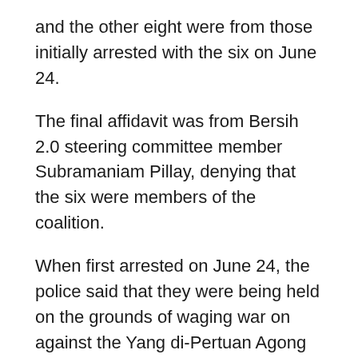and the other eight were from those initially arrested with the six on June 24.
The final affidavit was from Bersih 2.0 steering committee member Subramaniam Pillay, denying that the six were members of the coalition.
When first arrested on June 24, the police said that they were being held on the grounds of waging war on against the Yang di-Pertuan Agong and reviving communism.
Time is of the essence in EO applications as after 60 days, the minister can order a two-year-long detention.
Each applicant also met with their own affidavit…